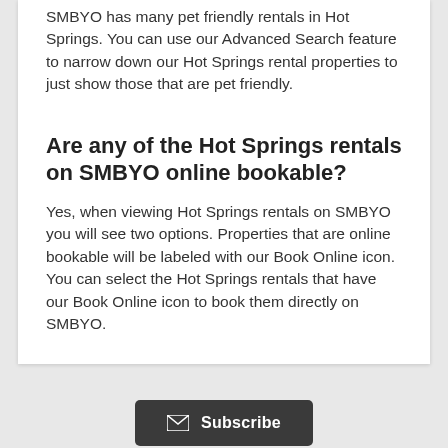SMBYO has many pet friendly rentals in Hot Springs. You can use our Advanced Search feature to narrow down our Hot Springs rental properties to just show those that are pet friendly.
Are any of the Hot Springs rentals on SMBYO online bookable?
Yes, when viewing Hot Springs rentals on SMBYO you will see two options. Properties that are online bookable will be labeled with our Book Online icon. You can select the Hot Springs rentals that have our Book Online icon to book them directly on SMBYO.
[Figure (other): Subscribe button with envelope icon]
Also of Interest